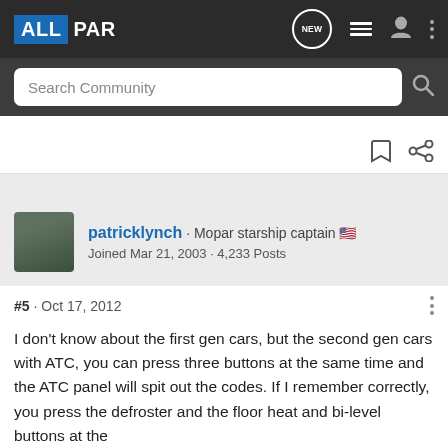[Figure (screenshot): Allpar community forum website header with logo, search bar, and user post by patricklynch]
ALLPAR — Search Community
patricklynch · Mopar starship captain 🇺🇸
Joined Mar 21, 2003 · 4,233 Posts
#5 · Oct 17, 2012
I don't know about the first gen cars, but the second gen cars with ATC, you can press three buttons at the same time and the ATC panel will spit out the codes. If I remember correctly, you press the defroster and the floor heat and bi-level buttons at the